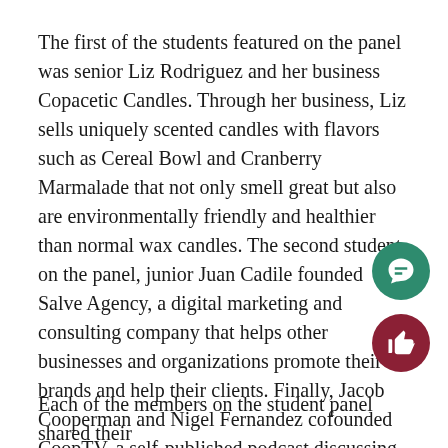The first of the students featured on the panel was senior Liz Rodriguez and her business Copacetic Candles. Through her business, Liz sells uniquely scented candles with flavors such as Cereal Bowl and Cranberry Marmalade that not only smell great but also are environmentally friendly and healthier than normal wax candles. The second student on the panel, junior Juan Cadile founded Salve Agency, a digital marketing and consulting company that helps other businesses and organizations promote their brands and help their clients. Finally, Jacob Cooperman and Nigel Fernandez cofounded CoopTV, a self-published podcast discussing pop culture and other topics relating to our current generation.
Each of the members on the student panel shared their